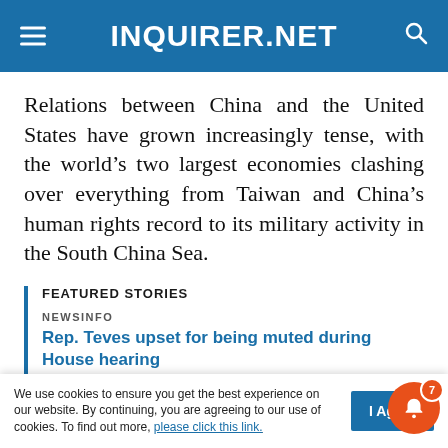INQUIRER.NET
Relations between China and the United States have grown increasingly tense, with the world’s two largest economies clashing over everything from Taiwan and China’s human rights record to its military activity in the South China Sea.
FEATURED STORIES
NEWSINFO
Rep. Teves upset for being muted during House hearing
NEWSINFO
Recruitment agency in Makati padlocked
We use cookies to ensure you get the best experience on our website. By continuing, you are agreeing to our use of cookies. To find out more, please click this link.